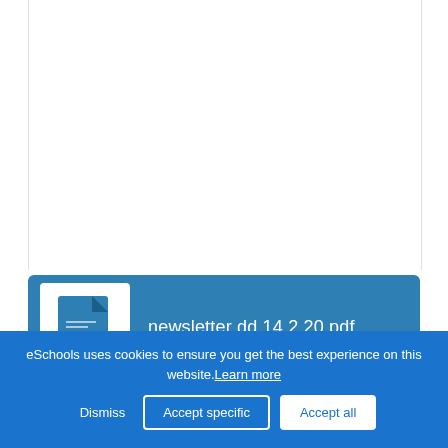parent.
[Figure (other): PDF attachment card showing a PDF file icon and filename 'newsletter dd 14.2.20.pdf' on a blue background]
newsletter dd 14.2.20.pdf
eSchools uses cookies to ensure you get the best experience on this website. Learn more
Dismiss  Accept specific  Accept all